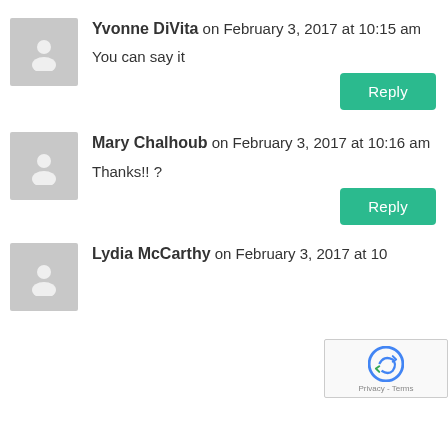Yvonne DiVita on February 3, 2017 at 10:15 am
You can say it
Mary Chalhoub on February 3, 2017 at 10:16 am
Thanks!! ?
Lydia McCarthy on February 3, 2017 at 10: am